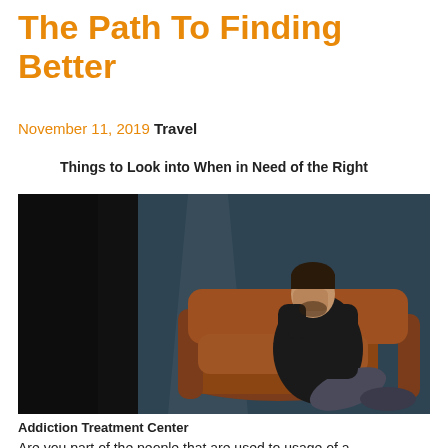The Path To Finding Better
November 11, 2019 Travel
Things to Look into When in Need of the Right
[Figure (photo): A man sitting on a brown leather armchair in a dark room, covering his face with one hand, appearing distressed or thoughtful.]
Addiction Treatment Center
Are you part of the people that are used to usage of a